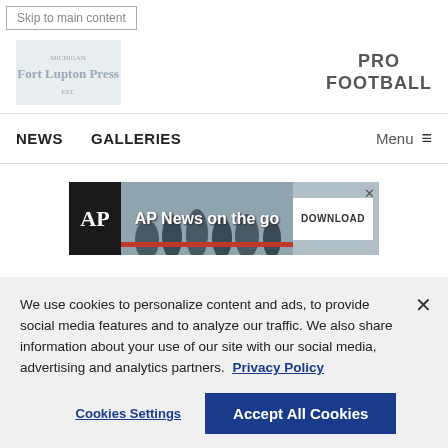Skip to main content
[Figure (logo): Fort Lupton Press newspaper logo]
PRO FOOTBALL
NEWS   GALLERIES   Menu ≡
[Figure (screenshot): AP News on the go - DOWNLOAD banner advertisement]
We use cookies to personalize content and ads, to provide social media features and to analyze our traffic. We also share information about your use of our site with our social media, advertising and analytics partners. Privacy Policy
Cookies Settings
Accept All Cookies